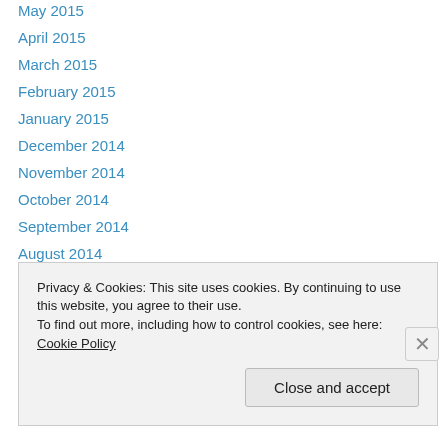May 2015
April 2015
March 2015
February 2015
January 2015
December 2014
November 2014
October 2014
September 2014
August 2014
July 2014
June 2014
May 2014
April 2014
Privacy & Cookies: This site uses cookies. By continuing to use this website, you agree to their use.
To find out more, including how to control cookies, see here: Cookie Policy
Close and accept